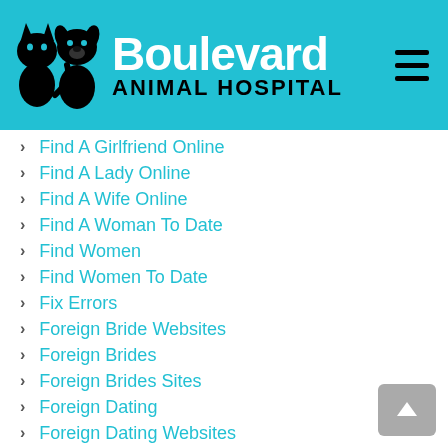Boulevard Animal Hospital
Find A Girlfriend Online
Find A Lady Online
Find A Wife Online
Find A Woman To Date
Find Women
Find Women To Date
Fix Errors
Foreign Bride Websites
Foreign Brides
Foreign Brides Sites
Foreign Dating
Foreign Dating Websites